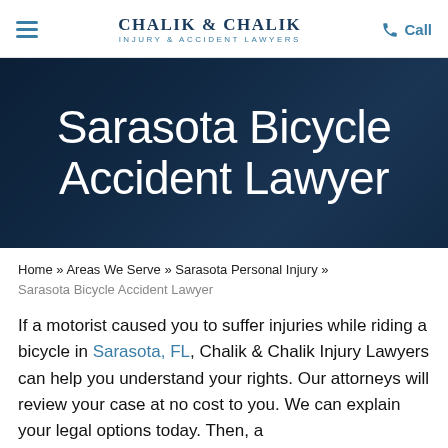CHALIK & CHALIK INJURY & ACCIDENT LAWYERS
[Figure (photo): Dark background hero image with text overlay reading 'Sarasota Bicycle Accident Lawyer', showing a dark navy/blue themed background, possibly with scales of justice imagery]
Sarasota Bicycle Accident Lawyer
Home » Areas We Serve » Sarasota Personal Injury » Sarasota Bicycle Accident Lawyer
If a motorist caused you to suffer injuries while riding a bicycle in Sarasota, FL, Chalik & Chalik Injury Lawyers can help you understand your rights. Our attorneys will review your case at no cost to you. We can explain your legal options today. Then, a